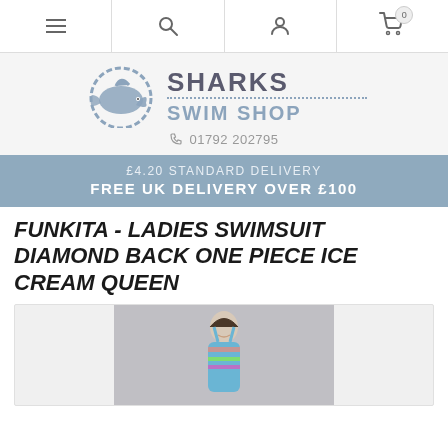Navigation bar with hamburger menu, search, user account, and shopping cart (0 items)
[Figure (logo): Sharks Swim Shop logo with shark illustration and phone number 01792 202795]
£4.20 STANDARD DELIVERY
FREE UK DELIVERY OVER £100
FUNKITA - LADIES SWIMSUIT DIAMOND BACK ONE PIECE ICE CREAM QUEEN
[Figure (photo): Photo of a woman wearing a colourful Funkita swimsuit against a grey background]